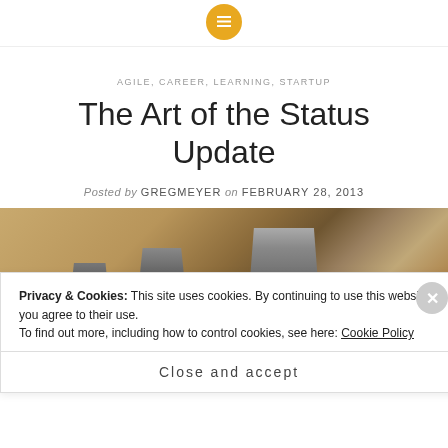AGILE, CAREER, LEARNING, STARTUP
The Art of the Status Update
Posted by GREGMEYER on FEBRUARY 28, 2013
[Figure (photo): Close-up photo of metallic shot glasses on a warm-toned background]
Privacy & Cookies: This site uses cookies. By continuing to use this website, you agree to their use. To find out more, including how to control cookies, see here: Cookie Policy
Close and accept